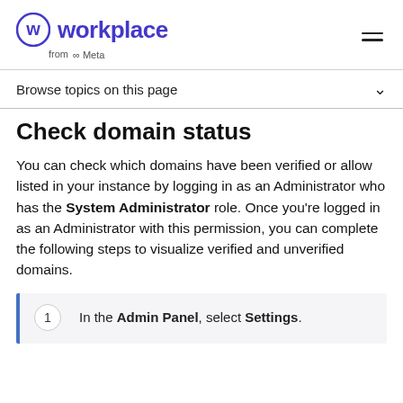Workplace from Meta
Browse topics on this page
Check domain status
You can check which domains have been verified or allow listed in your instance by logging in as an Administrator who has the System Administrator role. Once you're logged in as an Administrator with this permission, you can complete the following steps to visualize verified and unverified domains.
1  In the Admin Panel, select Settings.